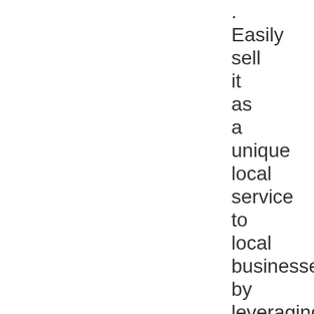. Easily sell it as a unique local service to local businesses by leveraging the “done for